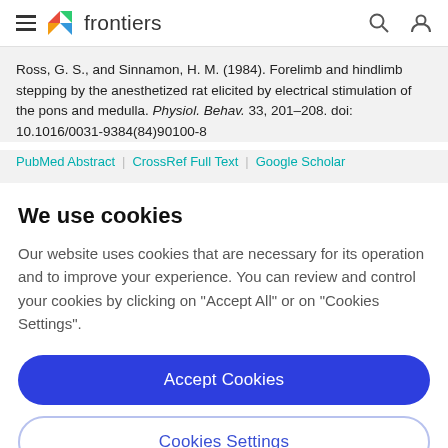frontiers
Ross, G. S., and Sinnamon, H. M. (1984). Forelimb and hindlimb stepping by the anesthetized rat elicited by electrical stimulation of the pons and medulla. Physiol. Behav. 33, 201–208. doi: 10.1016/0031-9384(84)90100-8
PubMed Abstract | CrossRef Full Text | Google Scholar
We use cookies
Our website uses cookies that are necessary for its operation and to improve your experience. You can review and control your cookies by clicking on "Accept All" or on "Cookies Settings".
Accept Cookies
Cookies Settings